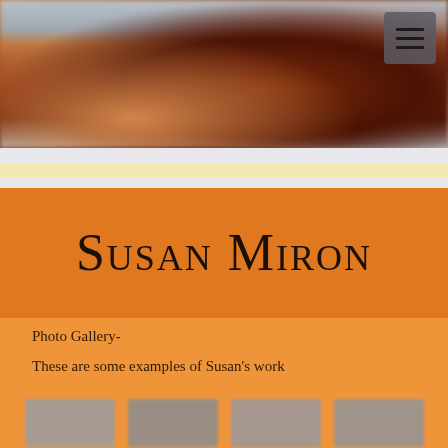[Figure (photo): Blurred hero image showing ceramic or sculptural artwork in brown and orange tones with a grey background, with a hamburger menu button in upper right corner]
Susan Miron
Photo Gallery-
These are some examples of Susan's work
[Figure (photo): Row of four blurred thumbnail images of artworks]